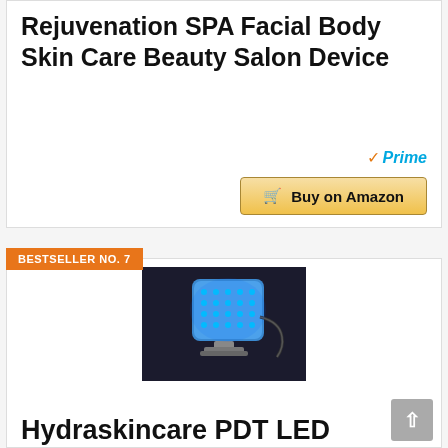Rejuvenation SPA Facial Body Skin Care Beauty Salon Device
Prime
Buy on Amazon
BESTSELLER NO. 7
[Figure (photo): LED light therapy device - a curved blue LED panel on a stand with cables, photographed against a dark background]
Hydraskincare PDT LED